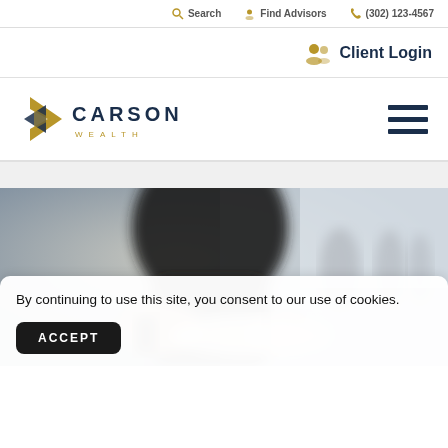Client Login
[Figure (logo): Carson Wealth logo with geometric arrow shape in gold and navy, with text CARSON WEALTH]
[Figure (photo): Blurred photo of a person holding a smartphone and pen, with blurred office/meeting room background]
By continuing to use this site, you consent to our use of cookies.
ACCEPT